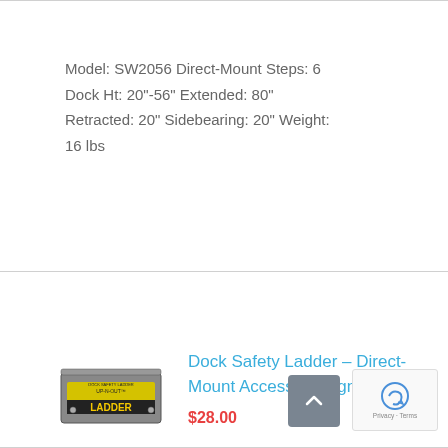Model: SW2056 Direct-Mount Steps: 6 Dock Ht: 20"-56" Extended: 80" Retracted: 20" Sidebearing: 20" Weight: 16 lbs
[Figure (photo): Yellow and black dock safety ladder box labeled LADDER]
Dock Safety Ladder – Direct-Mount Accessory Sign
$28.00